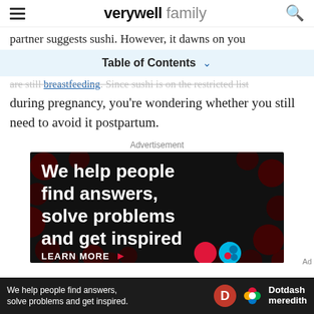verywell family
partner suggests sushi. However, it dawns on you
Table of Contents
are still breastfeeding. Since sushi is on the restricted list during pregnancy, you're wondering whether you still need to avoid it postpartum.
Advertisement
[Figure (other): Advertisement banner: black background with dark red polka dots. Large white bold text reads 'We help people find answers, solve problems and get inspired.' with a red period. Below: 'LEARN MORE' in white with red arrow. Bottom bar shows Dotdash Meredith branding.]